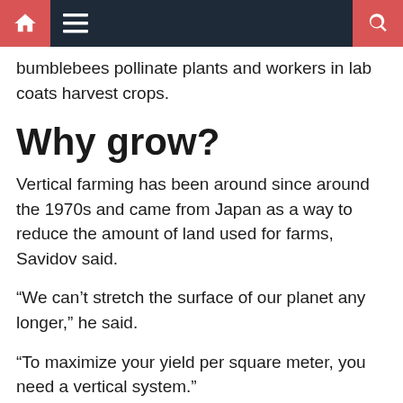Navigation bar with home, menu, and search icons
bumblebees pollinate plants and workers in lab coats harvest crops.
Why grow?
Vertical farming has been around since around the 1970s and came from Japan as a way to reduce the amount of land used for farms, Savidov said.
“We can’t stretch the surface of our planet any longer,” he said.
“To maximize your yield per square meter, you need a vertical system.”
Holm said vertical farms allow greenhouse operators to grow more produce in the same space. A typical greenhouse